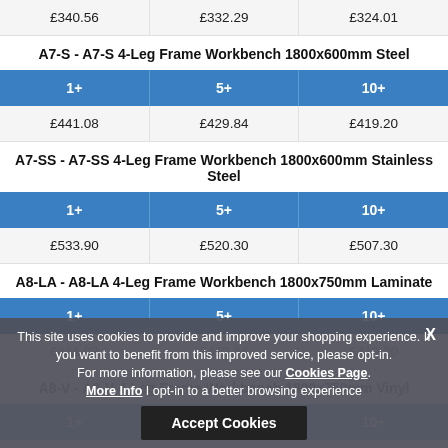| 1+ | 5+ | 10+ |
| --- | --- | --- |
| £340.56 | £332.29 | £324.01 |
A7-S - A7-S 4-Leg Frame Workbench 1800x600mm Steel
| 1+ | 5+ | 10+ |
| --- | --- | --- |
| £441.08 | £429.84 | £419.20 |
A7-SS - A7-SS 4-Leg Frame Workbench 1800x600mm Stainless Steel
| 1+ | 5+ | 10+ |
| --- | --- | --- |
| £533.90 | £520.30 | £507.30 |
A8-LA - A8-LA 4-Leg Frame Workbench 1800x750mm Laminate
| 1+ | 5+ | 10+ |
| --- | --- | --- |
| £441.08 | £429.84 | £419.20 |
A8-V - A8-V 4-Leg Frame Workbench 1800x750mm Vinyl
| 1+ | 5+ | 10+ |
| --- | --- | --- |
| £445.81 | £434.57 | £423.93 |
This site uses cookies to provide and improve your shopping experience. If you want to benefit from this improved service, please opt-in. For more information, please see our Cookies Page. More Info | opt-in to a better browsing experience